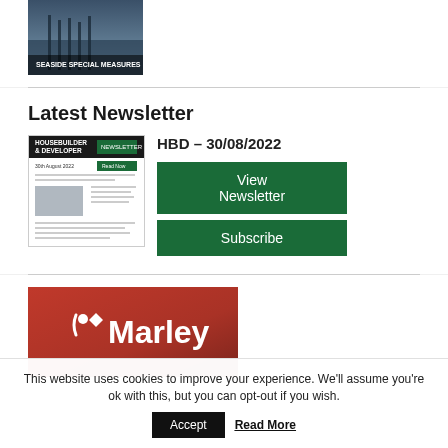[Figure (photo): Magazine cover thumbnail showing 'Seaside Special Measures' with a dark water/pier background]
Latest Newsletter
[Figure (screenshot): Thumbnail of Housebuilder & Developer newsletter dated 30th August 2022]
HBD – 30/08/2022
View Newsletter
Subscribe
[Figure (logo): Marley logo on red background with white text and dot/accent mark]
This website uses cookies to improve your experience. We'll assume you're ok with this, but you can opt-out if you wish.
Accept
Read More